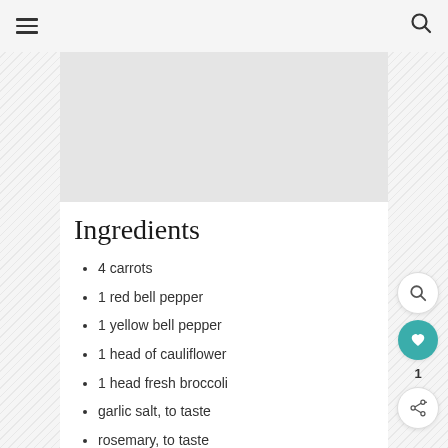☰  [menu]  [search icon]
[Figure (photo): Gray image placeholder area at the top of the content column]
Ingredients
4 carrots
1 red bell pepper
1 yellow bell pepper
1 head of cauliflower
1 head fresh broccoli
garlic salt, to taste
rosemary, to taste